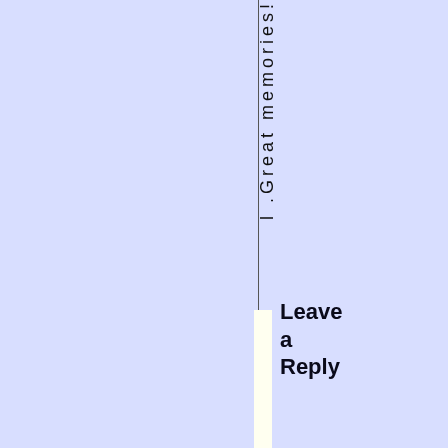l .Great memories!
Leave a Reply